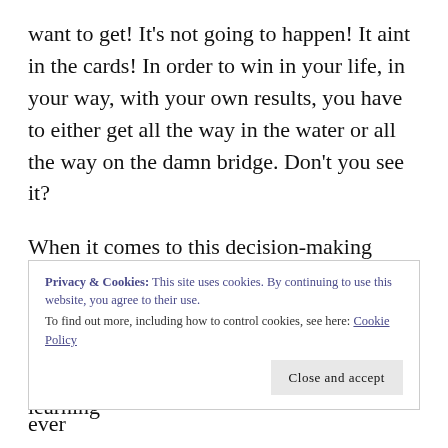want to get! It's not going to happen! It aint in the cards! In order to win in your life, in your way, with your own results, you have to either get all the way in the water or all the way on the damn bridge. Don't you see it?
When it comes to this decision-making process, there is a great possibility of you making the wrong choice. Well, so what! Indecision is also a choice and unlike a wrong choice it won't provide you with the learning
Privacy & Cookies: This site uses cookies. By continuing to use this website, you agree to their use.
To find out more, including how to control cookies, see here: Cookie Policy
with you being the leading actor! Have you ever